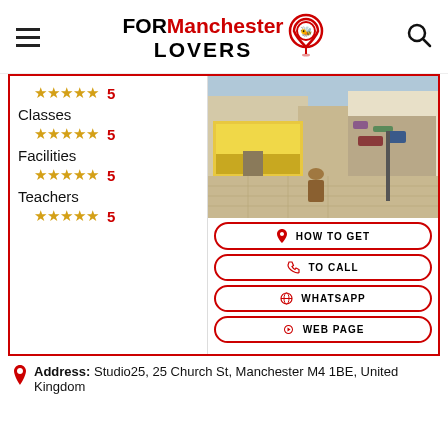FOR Manchester LOVERS
Classes ★★★★★ 5
Facilities ★★★★★ 5
Teachers ★★★★★ 5
[Figure (photo): Street view photo of a venue on Church Street Manchester, showing a storefront with graffiti wall and a person walking.]
HOW TO GET
TO CALL
WHATSAPP
WEB PAGE
Address: Studio25, 25 Church St, Manchester M4 1BE, United Kingdom